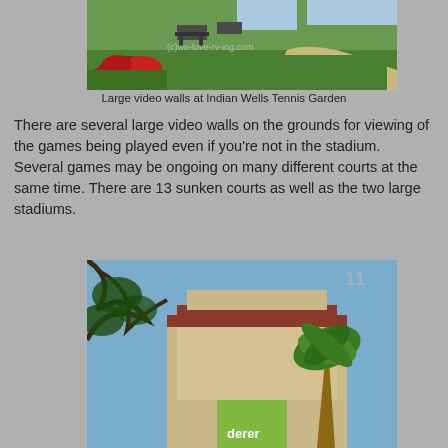[Figure (photo): Outdoor park area with green lawn, red roses in foreground, picnic tables, trees, and a watermark reading (c)we-love-rv-ing.com]
Large video walls at Indian Wells Tennis Garden
There are several large video walls on the grounds for viewing of the games being played even if you're not in the stadium.  Several games may be ongoing on many different courts at the same time.  There are 13 sunken courts as well as the two large stadiums.
[Figure (photo): Building exterior at Indian Wells Tennis Garden with palm tree, blue sky, tree branches in foreground, and a banner with 'derer' visible (Federer)]